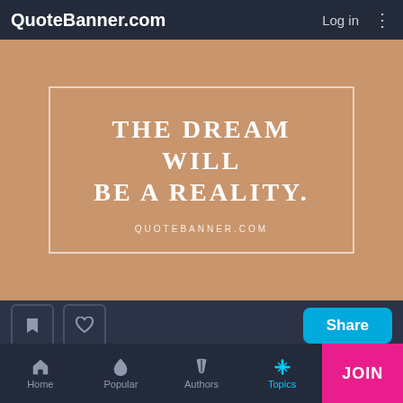QuoteBanner.com   Log in
[Figure (illustration): Quote banner with tan/brown background showing text: THE DREAM WILL BE A REALITY. QUOTEBANNER.COM in white uppercase letters with a white border rectangle]
With certainty, courage and commitment, the dream will be a reality.
Quoted by Lailah Gifty Akita
Self Confidence   Achieve   Christian   Commitment
Home   Popular   Authors   Topics   JOIN